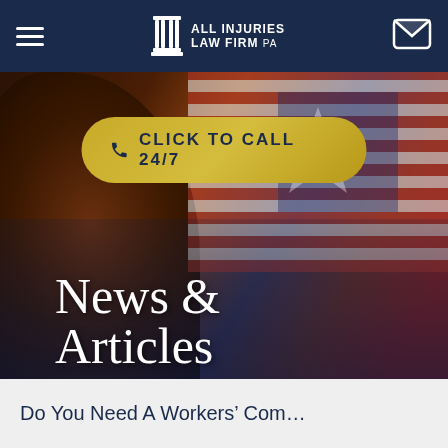ALL INJURIES LAW FIRM PA
[Figure (screenshot): Hero image with gavel and American flag background, containing a yellow 'CLICK TO CALL 24/7' button and large white text 'NEWS & ARTICLES']
News & Articles
Do You Need A Workers' Com...